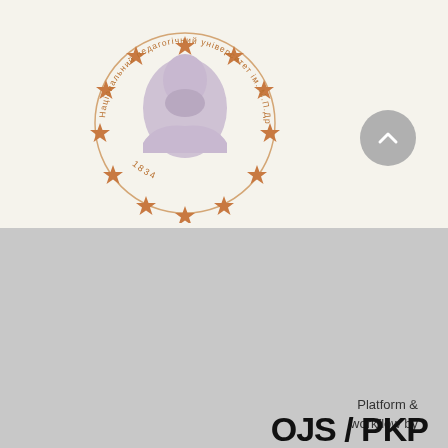[Figure (logo): Circular logo of National Pedagogical University named after M.P. Dragomanov (1834), with Ukrainian text around the border, stars arranged in a circle, and a bust portrait in the center.]
Open Science in Ukraine - розробка сайтів для наукових журналів.
Creative Commons «Attribution» 4.0 WorldWide.
Platform & workflow by OJS/PKP